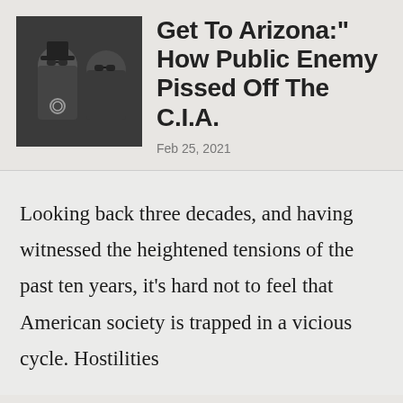[Figure (photo): Black and white photo of two hip-hop artists, one wearing a top hat, posed together]
Get To Arizona:" How Public Enemy Pissed Off The C.I.A.
Feb 25, 2021
Looking back three decades, and having witnessed the heightened tensions of the past ten years, it's hard not to feel that American society is trapped in a vicious cycle. Hostilities